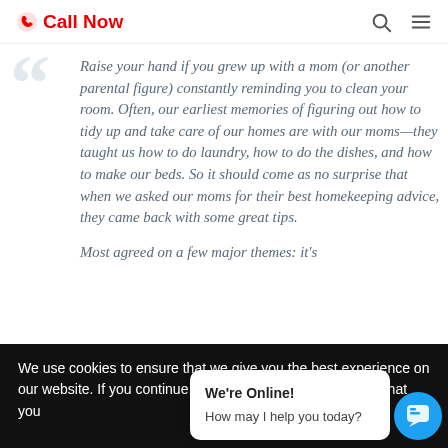Call Now
Raise your hand if you grew up with a mom (or another parental figure) constantly reminding you to clean your room. Often, our earliest memories of figuring out how to tidy up and take care of our homes are with our moms—they taught us how to do laundry, how to do the dishes, and how to make our beds. So it should come as no surprise that when we asked our moms for their best homekeeping advice, they came back with some great tips.

Most agreed on a few major themes: it's important to…
We use cookies to ensure that we give you the best experience on our website. If you continue to use this site we will assume that you
We're Online! How may I help you today?